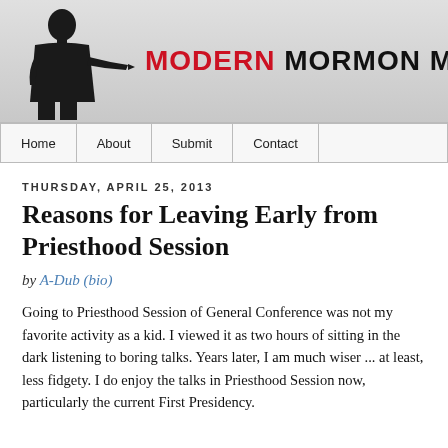MODERN MORMON MEN
| Home | About | Submit | Contact |
| --- | --- | --- | --- |
THURSDAY, APRIL 25, 2013
Reasons for Leaving Early from Priesthood Session
by A-Dub (bio)
Going to Priesthood Session of General Conference was not my favorite activity as a kid. I viewed it as two hours of sitting in the dark listening to boring talks. Years later, I am much wiser ... at least, less fidgety. I do enjoy the talks in Priesthood Session now, particularly the current First Presidency.